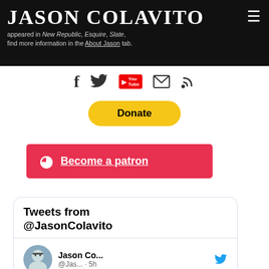JASON COLAVITO — New Republic, Esquire, Slate, … find more information in the About Jason tab.
[Figure (infographic): Social media icons: Facebook, Twitter, YouTube, Email, RSS]
[Figure (infographic): PayPal Donate button (yellow rounded rectangle)]
[Figure (infographic): Patreon button (red): Become a patron]
Tweets from @JasonColavito
Jason Co... @Jas... · 5h
Well, this certainly won't apply to Lue Elizondo, since he refuses to actually